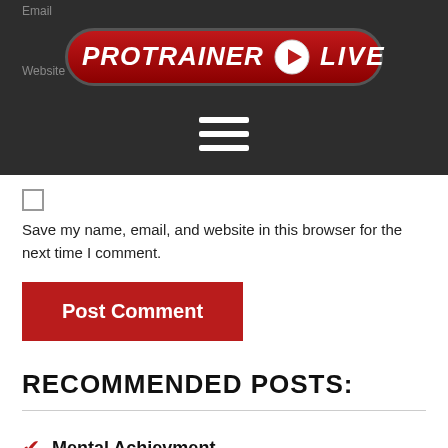[Figure (logo): ProTrainer Live logo — red pill-shaped banner with white bold italic text PRO TRAINER, a white play button circle icon, and LIVE text]
Email
Website
Save my name, email, and website in this browser for the next time I comment.
Post Comment
RECOMMENDED POSTS:
Mental Achievment
Fit with one click!